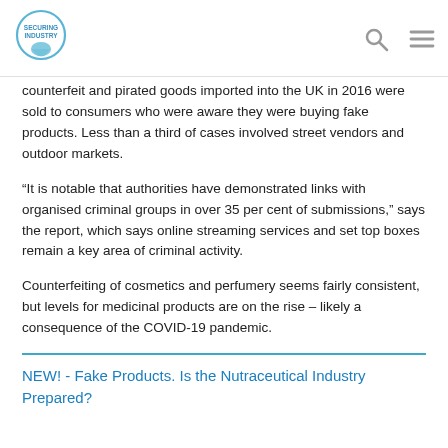Securing Industry
counterfeit and pirated goods imported into the UK in 2016 were sold to consumers who were aware they were buying fake products. Less than a third of cases involved street vendors and outdoor markets.
“It is notable that authorities have demonstrated links with organised criminal groups in over 35 per cent of submissions,” says the report, which says online streaming services and set top boxes remain a key area of criminal activity.
Counterfeiting of cosmetics and perfumery seems fairly consistent, but levels for medicinal products are on the rise – likely a consequence of the COVID-19 pandemic.
NEW! - Fake Products. Is the Nutraceutical Industry Prepared?